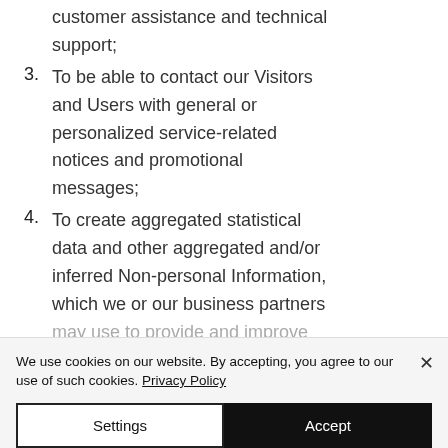customer assistance and technical support;
3. To be able to contact our Visitors and Users with general or personalized service-related notices and promotional messages;
4. To create aggregated statistical data and other aggregated and/or inferred Non-personal Information, which we or our business partners may use to provide and improve
We use cookies on our website. By accepting, you agree to our use of such cookies. Privacy Policy
Settings | Accept